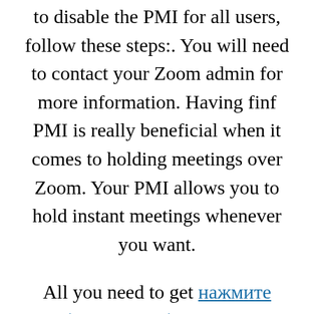to disable the PMI for all users, follow these steps:. You will need to contact your Zoom admin for more information. Having finf PMI is really beneficial when it comes to holding meetings over Zoom. Your PMI allows you to hold instant meetings whenever you want.

All you need to get нажмите чтобы увидеть больше PMI is an account of any how do you find meeting password on zoom on Zoom. You should now be in an instant meeting with your PMI. Now that you know about this